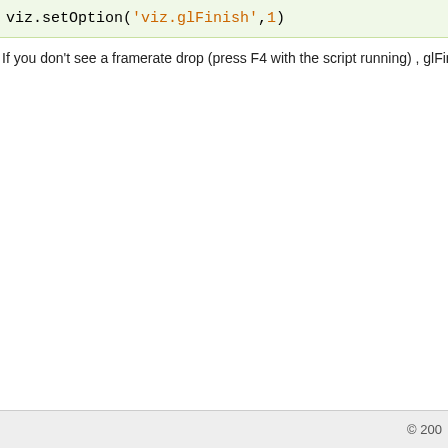viz.setOption('viz.glFinish',1)
If you don't see a framerate drop (press F4 with the script running) , glFinish is reduc
© 200